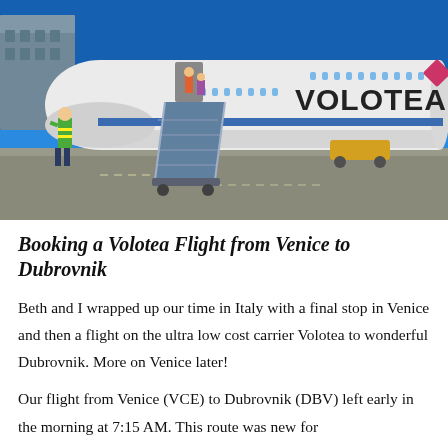[Figure (photo): A Volotea airline aircraft on the tarmac with boarding stairs extended. Passengers can be seen boarding. A ground crew member in a yellow vest stands on the left. An airport building is visible in the background. The sky is bright blue. The Volotea logo and name are prominently displayed on the fuselage.]
Booking a Volotea Flight from Venice to Dubrovnik
Beth and I wrapped up our time in Italy with a final stop in Venice and then a flight on the ultra low cost carrier Volotea to wonderful Dubrovnik. More on Venice later!
Our flight from Venice (VCE) to Dubrovnik (DBV) left early in the morning at 7:15 AM. This route was new for